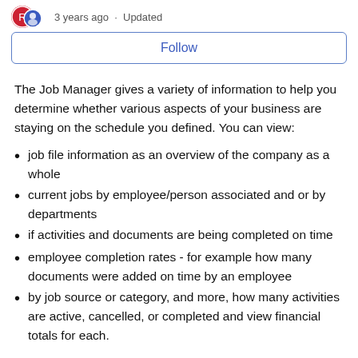3 years ago · Updated
Follow
The Job Manager gives a variety of information to help you determine whether various aspects of your business are staying on the schedule you defined. You can view:
job file information as an overview of the company as a whole
current jobs by employee/person associated and or by departments
if activities and documents are being completed on time
employee completion rates - for example how many documents were added on time by an employee
by job source or category, and more, how many activities are active, cancelled, or completed and view financial totals for each.